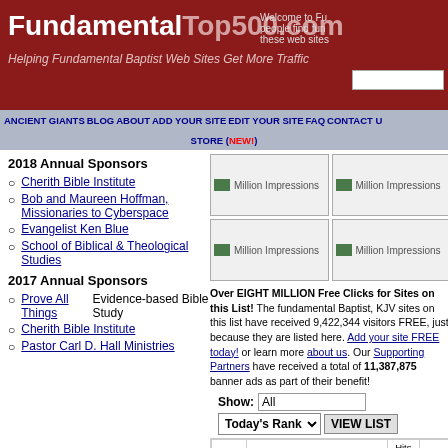FundamentalTop500.com — Helping Fundamental Baptist Web Sites Get More Traffic
2018 Annual Sponsors
Cherith Bible Institute
Bob and Maureen Hoffman, Missionaries to Cyberspace
Evangelist Ken Blue
School of Biblical & Theological Studies
2017 Annual Sponsors
Prove All Things — Evidence-based Bible Study
Cherith Bible Institute
Pastor Carl D. Hall Ministries
[Figure (other): Four banner ad placeholders labeled Million Impressions in a 2x2 grid]
Over EIGHT MILLION Free Clicks for Sites on this List! The fundamental Baptist, KJV sites on this list have received 9,422,344 visitors FREE, just because they are listed here. Add your site FREE today! or learn more about us. Our Supporting Partners have received a total of 11,387,875 banner ads as part of their benefit!
| RANK |  | Hits Today |  |
| --- | --- | --- | --- |
| 1 | The Sermon Notebook 4.67 stars | 2170 | 16 |
| 2 | Jesus Christ is the Only Way to Heaven! | 399 | 18 |
| 3 | The | 237 | 14 |